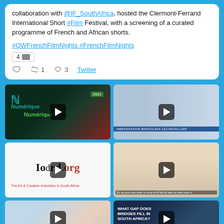collaboration with @IF_SouthAfrica, hosted the Clermont-Ferrand International Short #Film Festival, with a screening of a curated programme of French and African shorts.

#OWFrenchFilmNights #FrenchFilmNights
4 [media]
[reply] [retweet] 1  [like] 3  Twitter
[Figure (screenshot): Video thumbnail: Nuit du Numérique 2021 logo on dark background with colorful illustration]
[Figure (screenshot): Video thumbnail: Ambassador Marjolein Lechevallier speaking, with name bar at bottom]
[Figure (screenshot): Video thumbnail: iodrd.org - The Art & Creative Industries in South Africa logo on white background]
[Figure (screenshot): Video thumbnail: Close-up of a person's face with caption text at bottom]
[Figure (screenshot): Video thumbnail: Woman with colorful background]
[Figure (screenshot): Video thumbnail: 'What Gap Does Bridges Fill in South Africa?' text on dark background with person]